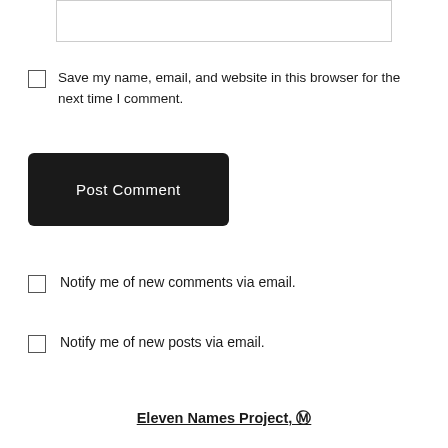[Figure (other): Textarea input box (comment field, partially visible at top)]
Save my name, email, and website in this browser for the next time I comment.
Post Comment
Notify me of new comments via email.
Notify me of new posts via email.
Eleven Names Project, ℗